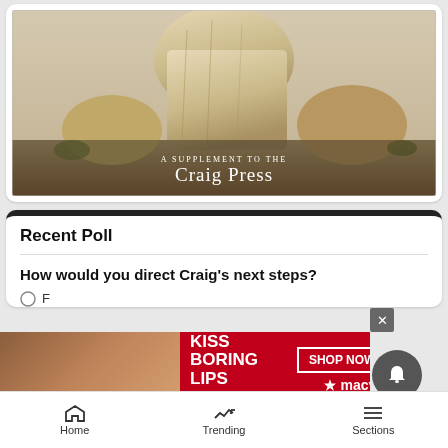[Figure (photo): Rock formation photograph with text overlay reading 'A SUPPLEMENT TO THE CRAIG PRESS' in white serif font on a dark desert landscape background]
Recent Poll
How would you direct Craig's next steps?
F...
[Figure (screenshot): Macy's advertisement banner: 'KISS BORING LIPS GOODBYE' with a woman's face and red lips, SHOP NOW button, and macy's star logo]
Home   Trending   Sections